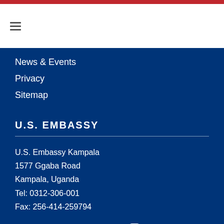News & Events
Privacy
Sitemap
U.S. EMBASSY
U.S. Embassy Kampala
1577 Ggaba Road
Kampala, Uganda
Tel: 0312-306-001
Fax: 256-414-259794
[Figure (other): Social media icons: Twitter, Facebook, YouTube, Flickr, Instagram, Email]